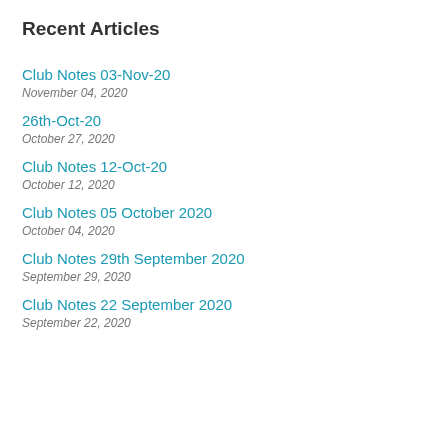Recent Articles
Club Notes 03-Nov-20
November 04, 2020
26th-Oct-20
October 27, 2020
Club Notes 12-Oct-20
October 12, 2020
Club Notes 05 October 2020
October 04, 2020
Club Notes 29th September 2020
September 29, 2020
Club Notes 22 September 2020
September 22, 2020